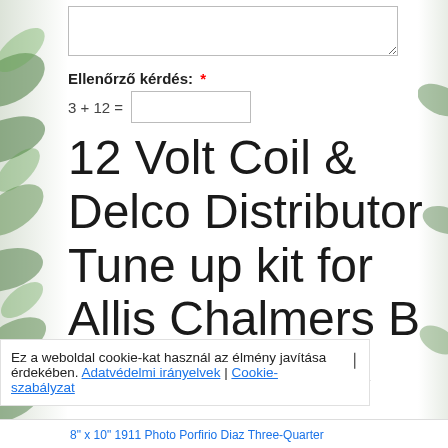[Figure (illustration): Green plant leaves decorating the left and right sides of the page]
Ellenőrző kérdés: *
12 Volt Coil & Delco Distributor Tune up kit for Allis Chalmers B C CA G IB RC
Ez a weboldal cookie-kat használ az élmény javítása érdekében. Adatvédelmi irányelvek | Cookie-szabályzat
8" x 10" 1911 Photo Porfirio Diaz Three-Quarter